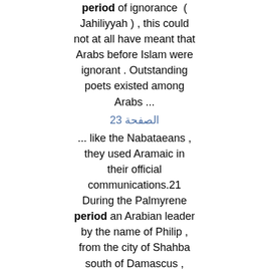period of ignorance ( Jahiliyyah ) , this could not at all have meant that Arabs before Islam were ignorant . Outstanding poets existed among Arabs ...
الصفحة 23
... like the Nabataeans , they used Aramaic in their official communications.21 During the Palmyrene period an Arabian leader by the name of Philip , from the city of Shahba south of Damascus , rose to power and became emperor of Rome .
الصفحة 26
In summary , Muhammad , at the head of the newly formed